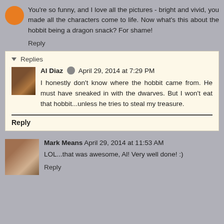You're so funny, and I love all the pictures - bright and vivid, you made all the characters come to life. Now what's this about the hobbit being a dragon snack? For shame!
Reply
Replies
Al Diaz  April 29, 2014 at 7:29 PM
I honestly don't know where the hobbit came from. He must have sneaked in with the dwarves. But I won't eat that hobbit...unless he tries to steal my treasure.
Reply
Mark Means  April 29, 2014 at 11:53 AM
LOL...that was awesome, Al! Very well done! :)
Reply